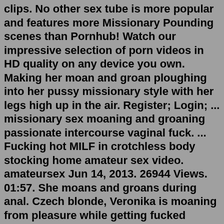clips. No other sex tube is more popular and features more Missionary Pounding scenes than Pornhub! Watch our impressive selection of porn videos in HD quality on any device you own. Making her moan and groan ploughing into her pussy missionary style with her legs high up in the air. Register; Login; ... missionary sex moaning and groaning passionate intercourse vaginal fuck. ... Fucking hot MILF in crotchless body stocking home amateur sex video. amateursex Jun 14, 2013. 26944 Views. 01:57. She moans and groans during anal. Czech blonde, Veronika is moaning from pleasure while getting fucked during a porn video casting. 7 months ago. PerfectGirls. HD 71% 29:44. Sexy Sofy moans while she bangs. 3 years ago. GotPorn. HD 83% 9:06. Naked, amateur chick got fucked from the back until she started moaning and screaming from pleasure. Sex Motors - Best Porn Movies and Sex Clips : 3d porn, 69 sex, amateur, amazing porn, anal, anime, arabian, asian, ass, ass licking, new porn ... 5:58 Busty